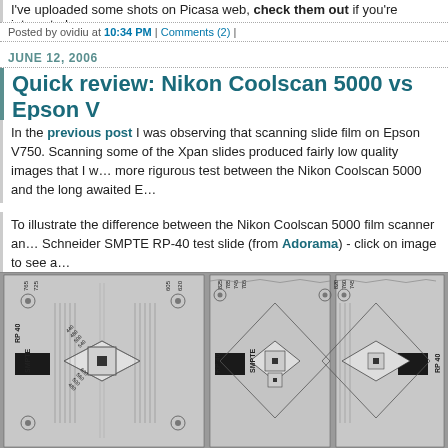I've uploaded some shots on Picasa web, check them out if you're interested.
Posted by ovidiu at 10:34 PM | Comments (2) |
JUNE 12, 2006
Quick review: Nikon Coolscan 5000 vs Epson V
In the previous post I was observing that scanning slide film on Epson V750. Scanning some of the Xpan slides produced fairly low quality images that I w... more rigurous test between the Nikon Coolscan 5000 and the long awaited E...
To illustrate the difference between the Nikon Coolscan 5000 film scanner an... Schneider SMPTE RP-40 test slide (from Adorama) - click on image to see a...
[Figure (photo): SMPTE RP-40 test slide scanned multiple times showing resolution test patterns with labeled frequency values (440, 480, 500, 540, 560, 600, 640, 660, 690, 700, 725, 745, 765, 800, 820, 825, 830, 600, 605, 620, 700). Multiple panels of the same slide shown side by side.]